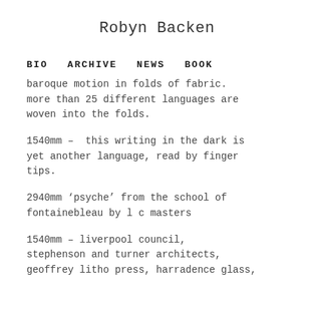Robyn Backen
BIO   ARCHIVE   NEWS   BOOK
baroque motion in folds of fabric. more than 25 different languages are woven into the folds.
1540mm –  this writing in the dark is yet another language, read by finger tips.
2940mm 'psyche' from the school of fontainebleau by l c masters
1540mm – liverpool council, stephenson and turner architects, geoffrey litho press, harradence glass,